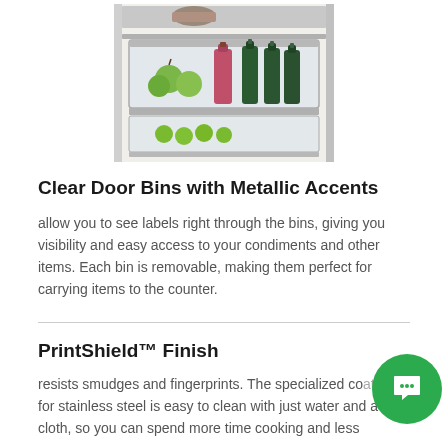[Figure (photo): Photo of an open refrigerator door showing clear bins with bottles, jars, and produce items including green apples and dark glass bottles, with metallic accents on the bins.]
Clear Door Bins with Metallic Accents
allow you to see labels right through the bins, giving you visibility and easy access to your condiments and other items. Each bin is removable, making them perfect for carrying items to the counter.
PrintShield™ Finish
resists smudges and fingerprints. The specialized coating for stainless steel is easy to clean with just water and a soft cloth, so you can spend more time cooking and less